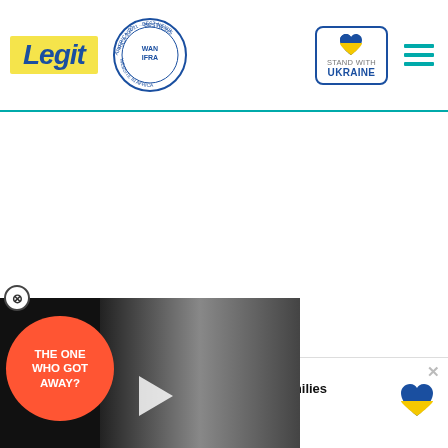Legit - WAN IFRA Best News Website in Africa 2021 - Stand with Ukraine
[Figure (screenshot): Video player popup showing two people (man and woman) with a speech bubble reading 'THE ONE WHO GOT AWAY?' and a play button. A red minimize button with a down arrow is at the bottom right.]
[Figure (infographic): Advertisement banner: Help Protect Ukrainian Families - DONATE NOW button with Ukrainian flag heart icon and photo of people.]